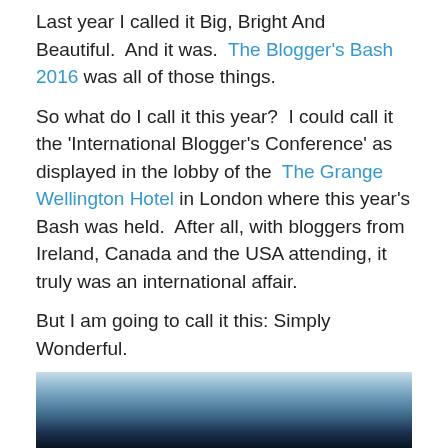Last year I called it Big, Bright And Beautiful.  And it was.  The Blogger's Bash 2016 was all of those things.
So what do I call it this year?  I could call it the 'International Blogger's Conference' as displayed in the lobby of the  The Grange Wellington Hotel  in London where this year's Bash was held.  After all, with bloggers from Ireland, Canada and the USA attending, it truly was an international affair.
But I am going to call it this: Simply Wonderful.
So it was on June 10th, arriving in London on a beautiful, not-quite-officially summer morning,  I met up with Julie en route for a quick coffee. It was fantastic to see her again; we've both attended all three Bashes, real old timers, ha!
[Figure (photo): A dark blue-toned photo, partially visible at the bottom of the page, appearing to show an interior or outdoor scene with a blue/teal color palette.]